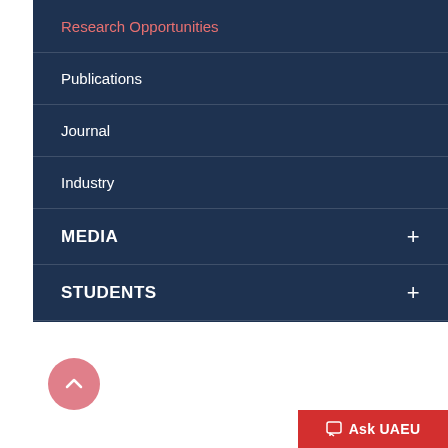Research Opportunities
Publications
Journal
Industry
MEDIA
STUDENTS
CONTACT US
[Figure (other): Pink circular scroll-to-top button with upward chevron arrow]
[Figure (other): Red Ask UAEU chat button in bottom right corner]